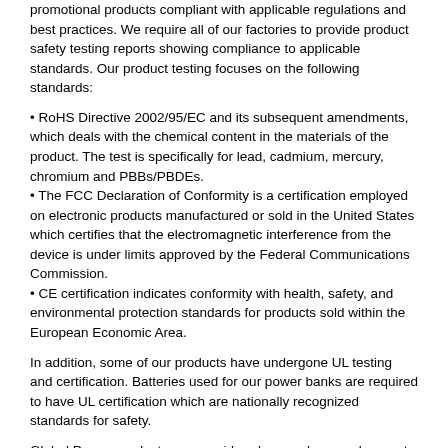promotional products compliant with applicable regulations and best practices. We require all of our factories to provide product safety testing reports showing compliance to applicable standards. Our product testing focuses on the following standards:
RoHS Directive 2002/95/EC and its subsequent amendments, which deals with the chemical content in the materials of the product. The test is specifically for lead, cadmium, mercury, chromium and PBBs/PBDEs.
The FCC Declaration of Conformity is a certification employed on electronic products manufactured or sold in the United States which certifies that the electromagnetic interference from the device is under limits approved by the Federal Communications Commission.
CE certification indicates conformity with health, safety, and environmental protection standards for products sold within the European Economic Area.
In addition, some of our products have undergone UL testing and certification. Batteries used for our power banks are required to have UL certification which are nationally recognized standards for safety.
Global Promo products are considered general use and are not intended for children. If clients plan to distribute goods to children, third party testing to applicable standards can be made available for these designated products at an additional cost.
CALIFORNIA PROPOSITION 65 COMPLIANCE